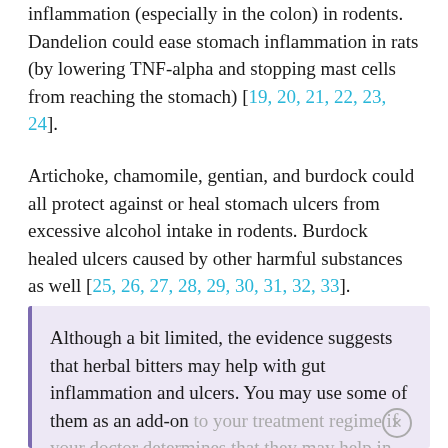inflammation (especially in the colon) in rodents. Dandelion could ease stomach inflammation in rats (by lowering TNF-alpha and stopping mast cells from reaching the stomach) [19, 20, 21, 22, 23, 24].
Artichoke, chamomile, gentian, and burdock could all protect against or heal stomach ulcers from excessive alcohol intake in rodents. Burdock healed ulcers caused by other harmful substances as well [25, 26, 27, 28, 29, 30, 31, 32, 33].
Although a bit limited, the evidence suggests that herbal bitters may help with gut inflammation and ulcers. You may use some of them as an add-on to your treatment regime if your doctor determines that they may help in your case.